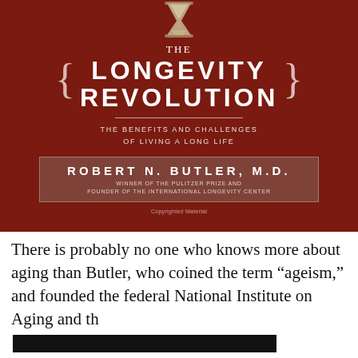[Figure (illustration): Book cover of 'The Longevity Revolution: The Benefits and Challenges of Living a Long Life' by Robert N. Butler, M.D. Deep red background with hourglass image at top, large title with decorative braces, subtitle, and author name in a rectangular box with credentials.]
There is probably no one who knows more about aging than Butler, who coined the term “ageism,” and founded the federal National Institute on Aging and th[redacted] geriat[redacted]e?